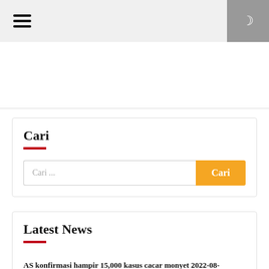Navigation bar with hamburger menu and dark mode toggle
[Figure (other): Advertisement placeholder area]
Cari
Cari ...
Latest News
AS konfirmasi hampir 15,000 kasus cacar monyet 2022-08-